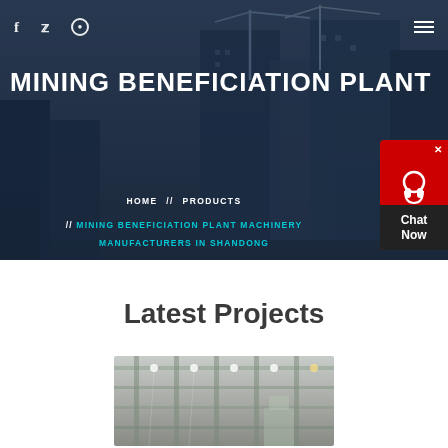[Figure (photo): Construction site hero background with cranes and buildings at dusk/night, dark overlay]
f  🐦  ⊕   ≡
MINING BENEFICIATION PLANT
HOME // PRODUCTS // MINING BENEFICIATION PLANT MACHINERY MANUFACTURERS IN SHANDONG
[Figure (illustration): Chat Now widget — red background with headset icon and dark Chat Now label, X close button]
Latest Projects
[Figure (photo): Industrial interior construction photo — steel structure, lighting fixtures, workers on scaffolding]